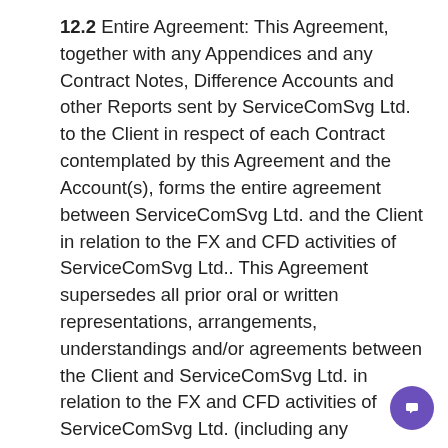12.2 Entire Agreement: This Agreement, together with any Appendices and any Contract Notes, Difference Accounts and other Reports sent by ServiceComSvg Ltd. to the Client in respect of each Contract contemplated by this Agreement and the Account(s), forms the entire agreement between ServiceComSvg Ltd. and the Client in relation to the FX and CFD activities of ServiceComSvg Ltd.. This Agreement supersedes all prior oral or written representations, arrangements, understandings and/or agreements between the Client and ServiceComSvg Ltd. in relation to the FX and CFD activities of ServiceComSvg Ltd. (including any agreement between the Client and any third party which has been assigned to ServiceComSvg Ltd., if any). ServiceComSvg Ltd.